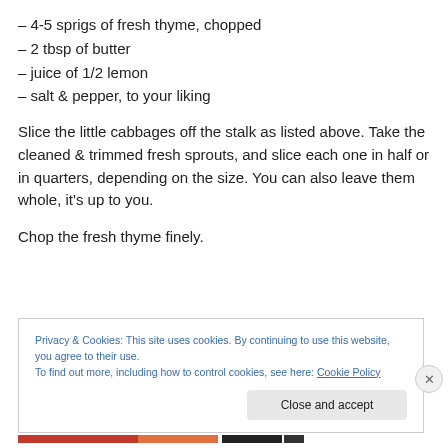– 4-5 sprigs of fresh thyme, chopped
– 2 tbsp of butter
– juice of 1/2 lemon
– salt & pepper, to your liking
Slice the little cabbages off the stalk as listed above. Take the cleaned & trimmed fresh sprouts, and slice each one in half or in quarters, depending on the size. You can also leave them whole, it's up to you.
Chop the fresh thyme finely.
Privacy & Cookies: This site uses cookies. By continuing to use this website, you agree to their use.
To find out more, including how to control cookies, see here: Cookie Policy